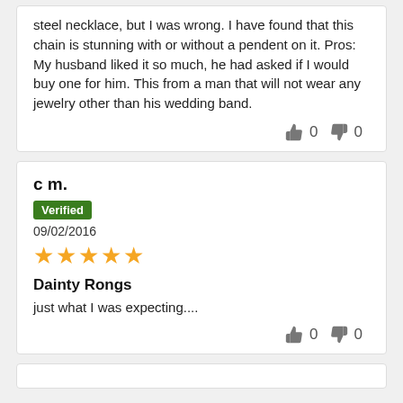steel necklace, but I was wrong. I have found that this chain is stunning with or without a pendent on it. Pros: My husband liked it so much, he had asked if I would buy one for him. This from a man that will not wear any jewelry other than his wedding band.
👍 0 👎 0
c m.
Verified
09/02/2016
★★★★★
Dainty Rongs
just what I was expecting....
👍 0 👎 0